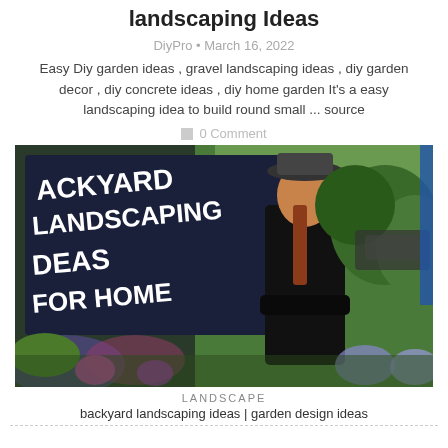landscaping Ideas
DiyPro • March 16, 2022
Easy Diy garden ideas , gravel landscaping ideas , diy garden decor , diy concrete ideas , diy home garden It's a easy landscaping idea to build round small ... source
0 Comment
[Figure (photo): Woman in black outfit and hat standing in front of a dark sign reading 'BACKYARD LANDSCAPING IDEAS FOR HOME', surrounded by green garden plants and flowers, with a car visible in the background.]
LANDSCAPE
backyard landscaping ideas | garden design ideas